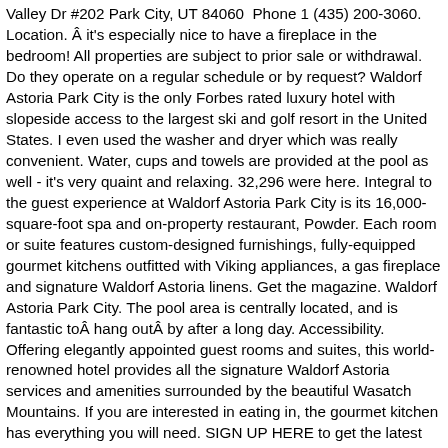Valley Dr #202 Park City, UT 84060  Phone 1 (435) 200-3060. Location. Â it's especially nice to have a fireplace in the bedroom! All properties are subject to prior sale or withdrawal. Do they operate on a regular schedule or by request? Waldorf Astoria Park City is the only Forbes rated luxury hotel with slopeside access to the largest ski and golf resort in the United States. I even used the washer and dryer which was really convenient. Water, cups and towels are provided at the pool as well - it's very quaint and relaxing. 32,296 were here. Integral to the guest experience at Waldorf Astoria Park City is its 16,000-square-foot spa and on-property restaurant, Powder. Each room or suite features custom-designed furnishings, fully-equipped gourmet kitchens outfitted with Viking appliances, a gas fireplace and signature Waldorf Astoria linens. Get the magazine. Waldorf Astoria Park City. The pool area is centrally located, and is fantastic toÂ hang outÂ by after a long day. Accessibility. Offering elegantly appointed guest rooms and suites, this world-renowned hotel provides all the signature Waldorf Astoria services and amenities surrounded by the beautiful Wasatch Mountains. If you are interested in eating in, the gourmet kitchen has everything you will need. SIGN UP HERE to get the latest deals, news and snow reports at top resorts worldwide. Since 2009, it has been hosting guests in Park City. If you have any questions, please give me a call! Exclusive to Waldorf Astoria Hotels & Resorts, our renowned hospitality ensures your stay is unique and flawless. I enjoyed the jetted soaker tub and fireplaces in each room. The only luxury hotel with slope side access to Park City Resort, the largest ski resort in the U.S. Make sure to book your appointments ahead of time, especially during high season - I personally recommend Christa for a deep tissue massage! View deals for Waldorf Astoria Park City, including fully refundable rates with free cancellation.